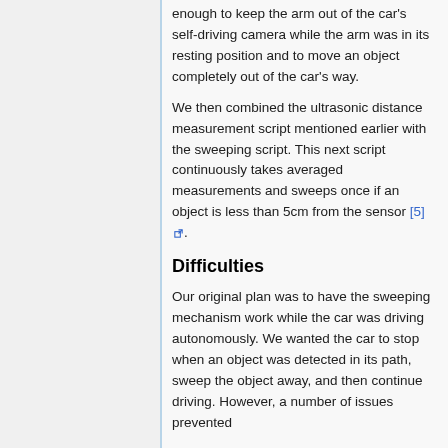enough to keep the arm out of the car's self-driving camera while the arm was in its resting position and to move an object completely out of the car's way.
We then combined the ultrasonic distance measurement script mentioned earlier with the sweeping script. This next script continuously takes averaged measurements and sweeps once if an object is less than 5cm from the sensor [5].
Difficulties
Our original plan was to have the sweeping mechanism work while the car was driving autonomously. We wanted the car to stop when an object was detected in its path, sweep the object away, and then continue driving. However, a number of issues prevented